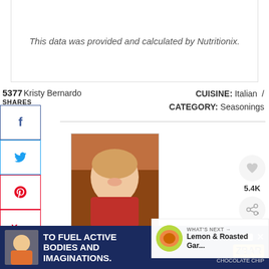This data was provided and calculated by Nutritionix.
5377 Kristy Bernardo
SHARES
CUISINE: Italian / CATEGORY: Seasonings
[Figure (photo): Photo of Kristy Bernardo smiling, wearing a red top]
5.4K
Kristy Bernardo
Kristy Bernardo is the recipe creator behind The Wicked N... five-time cookbook author, has taught cooking classes to ... adults, and has been creating recipes for nationwide brands since 2009. She learned most of her cooking skills from her mom and grandmother,
WHAT'S NEXT → Lemon & Roasted Gar...
[Figure (photo): Ad banner: TO FUEL ACTIVE BODIES AND IMAGINATIONS. ZBAR chocolate chip]